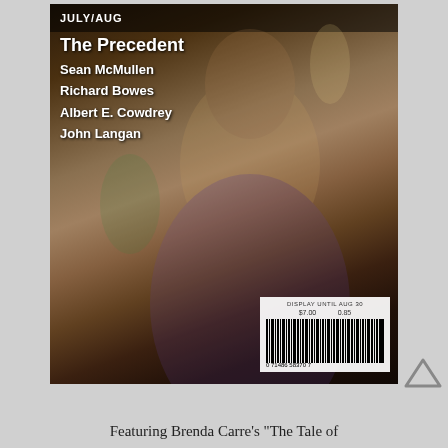[Figure (illustration): Magazine cover showing a fantasy illustration of a woman in ornate robes with gold jewelry and birds, surrounded by floral elements. Header reads JULY/AUG with volume number. Text overlay lists story contributors: The Precedent, Sean McMullen, Richard Bowes, Albert E. Cowdrey, John Langan. Bottom right has barcode area with DISPLAY UNTIL AUG 30, $7.00, and barcode number 0 71486 58370 7.]
Featuring Brenda Carre's "The Tale of